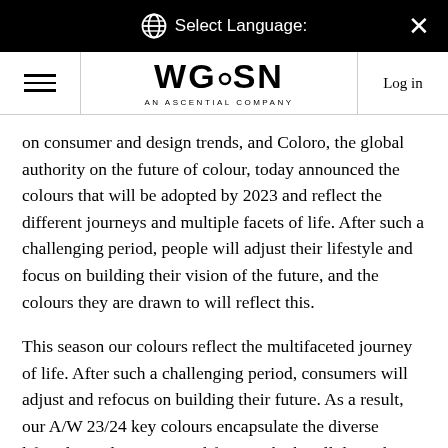Select Language:
WGSN AN ASCENTIAL COMPANY  Log in
on consumer and design trends, and Coloro, the global authority on the future of colour, today announced the colours that will be adopted by 2023 and reflect the different journeys and multiple facets of life. After such a challenging period, people will adjust their lifestyle and focus on building their vision of the future, and the colours they are drawn to will reflect this.
This season our colours reflect the multifaceted journey of life. After such a challenging period, consumers will adjust and refocus on building their future. As a result, our A/W 23/24 key colours encapsulate the diverse lifestyles and motivational forces which will drive the